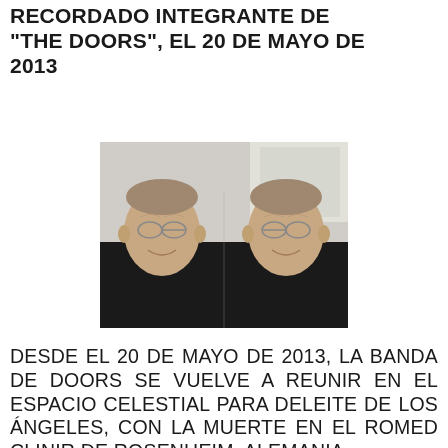RECORDADO INTEGRANTE DE "THE DOORS", EL 20 DE MAYO DE 2013
[Figure (photo): Photo of an elderly man with glasses wearing a black shirt, shown as a mirrored double image — the man facing left and right, heads touching in the center, against a light background.]
DESDE EL 20 DE MAYO DE 2013, LA BANDA DE DOORS SE VUELVE A REUNIR EN EL ESPACIO CELESTIAL PARA DELEITE DE LOS ÁNGELES, CON LA MUERTE EN EL ROMED CLINIR DE ROSENHEIM, ALEMANIA,